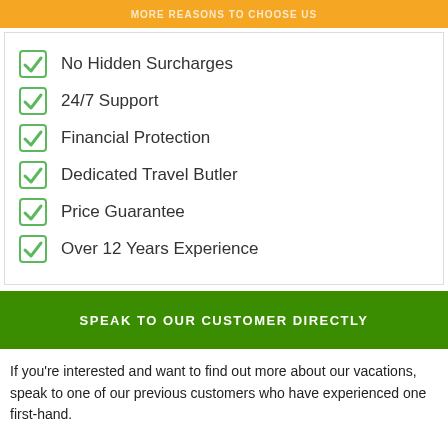MORE REASONS TO CHOOSE US
No Hidden Surcharges
24/7 Support
Financial Protection
Dedicated Travel Butler
Price Guarantee
Over 12 Years Experience
SPEAK TO OUR CUSTOMER DIRECTLY
If you're interested and want to find out more about our vacations, speak to one of our previous customers who have experienced one first-hand.